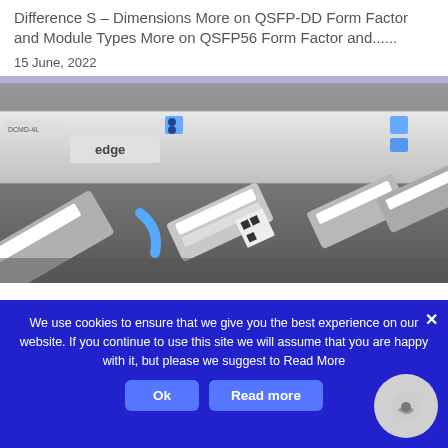Difference S – Dimensions More on QSFP-DD Form Factor and Module Types More on QSFP56 Form Factor and......
15 June, 2022
[Figure (photo): 3D render of networking equipment including an 'edge' branded rack unit with QSFP transceivers/modules arranged on a grey surface]
We use cookies to ensure that we give you the best experience on our website. If you continue to use this site we will assume that you are happy with it, but please we suggest to Read More